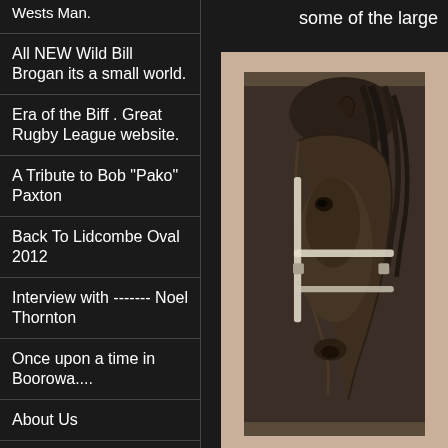Wests Man.
All NEW Wild Bill Brogan its a small world.
Era of the Biff . Great Rugby League website.
A Tribute to Bob "Pako" Paxton
Back To Lidcombe Oval 2012
Interview with ------- Noel Thornton
Once upon a time in Boorowa....
About Us
Contact Us
A Tribute to Ron
some of the large
[Figure (photo): Close-up black and white photograph of a horse's head wearing a bridle/halter, mounted on a beige/tan mat board background]